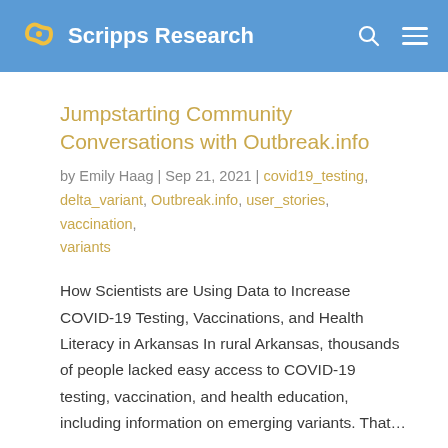Scripps Research
Jumpstarting Community Conversations with Outbreak.info
by Emily Haag | Sep 21, 2021 | covid19_testing, delta_variant, Outbreak.info, user_stories, vaccination, variants
How Scientists are Using Data to Increase COVID-19 Testing, Vaccinations, and Health Literacy in Arkansas In rural Arkansas, thousands of people lacked easy access to COVID-19 testing, vaccination, and health education, including information on emerging variants. That...